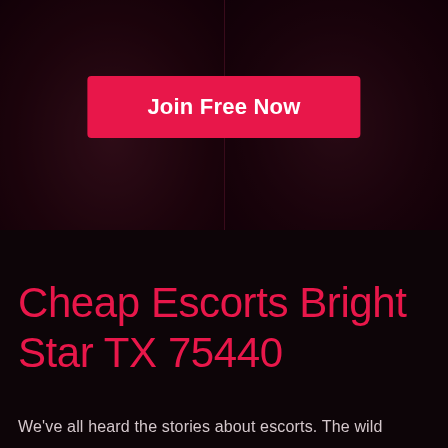[Figure (photo): Dark background photo split into two panels showing figures with dark overlay]
Join Free Now
Cheap Escorts Bright Star TX 75440
We've all heard the stories about escorts. The wild